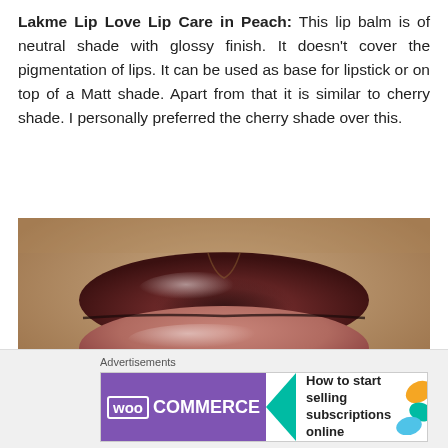Lakme Lip Love Lip Care in Peach: This lip balm is of neutral shade with glossy finish. It doesn't cover the pigmentation of lips. It can be used as base for lipstick or on top of a Matt shade. Apart from that it is similar to cherry shade. I personally preferred the cherry shade over this.
[Figure (photo): Close-up photo of lips with pigmentation, showing a person's mouth with dark-pigmented lips wearing a glossy lip balm in a neutral/peach shade.]
Advertisements
[Figure (screenshot): WooCommerce advertisement banner with purple background, green arrow, and text reading 'How to start selling subscriptions online']